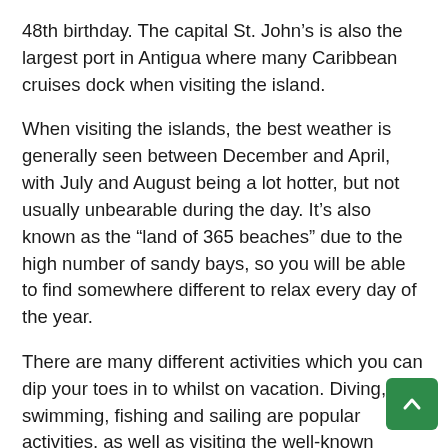48th birthday. The capital St. John's is also the largest port in Antigua where many Caribbean cruises dock when visiting the island.
When visiting the islands, the best weather is generally seen between December and April, with July and August being a lot hotter, but not usually unbearable during the day. It's also known as the “land of 365 beaches” due to the high number of sandy bays, so you will be able to find somewhere different to relax every day of the year.
There are many different activities which you can dip your toes in to whilst on vacation. Diving, swimming, fishing and sailing are popular activities, as well as visiting the well-known Stingray City, a unique experience where you can get up close with the ray
For silky smooth sand, book an excursion to the 17